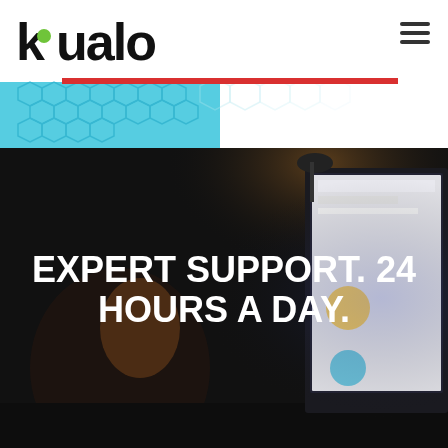[Figure (logo): Kualo logo in black with green accent on the 'k']
[Figure (illustration): Hamburger menu icon (three horizontal lines) in top right corner]
[Figure (photo): Website screenshot and tech background with blue hexagonal pattern and a red horizontal bar overlay]
[Figure (photo): Dark photo of a person working at a computer monitor at night with another monitor showing a website]
EXPERT SUPPORT. 24 HOURS A DAY.